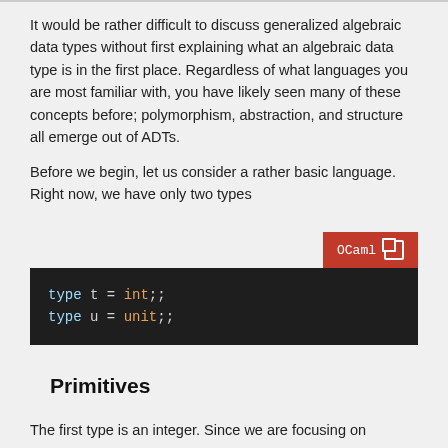It would be rather difficult to discuss generalized algebraic data types without first explaining what an algebraic data type is in the first place. Regardless of what languages you are most familiar with, you have likely seen many of these concepts before; polymorphism, abstraction, and structure all emerge out of ADTs.

Before we begin, let us consider a rather basic language. Right now, we have only two types
[Figure (screenshot): OCaml code block with dark background showing: type t = int;; and type u = unit;; with an OCaml label tab in red at top right with a copy icon]
Primitives
The first type is an integer. Since we are focusing on